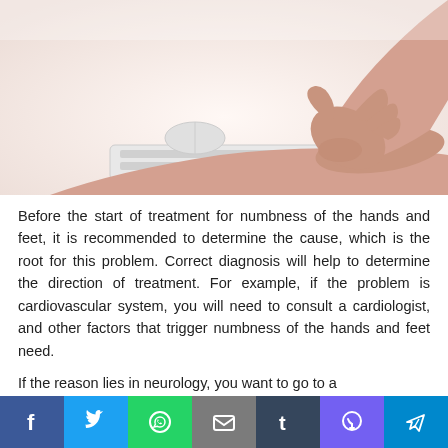[Figure (photo): Person holding/massaging their wrist with one hand, with a computer keyboard and mouse visible on a white desk in the background. Hands appear to show wrist pain or numbness.]
Before the start of treatment for numbness of the hands and feet, it is recommended to determine the cause, which is the root for this problem. Correct diagnosis will help to determine the direction of treatment. For example, if the problem is cardiovascular system, you will need to consult a cardiologist, and other factors that trigger numbness of the hands and feet need.
If the reason lies in neurology, you want to go to a